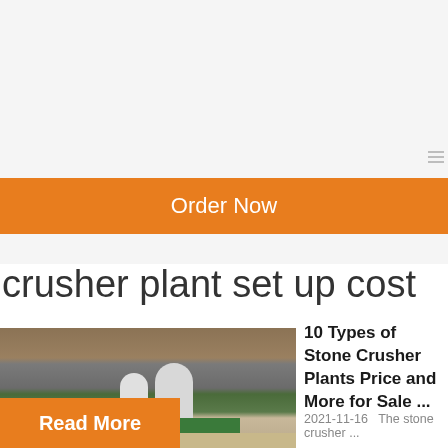Order Now
crusher plant set up cost
[Figure (photo): Outdoor photo of a stone crusher plant facility with silos, green buildings, and rocky terrain in the background]
10 Types of Stone Crusher Plants Price and More for Sale ...
2021-11-16   The stone crusher ...
Read More